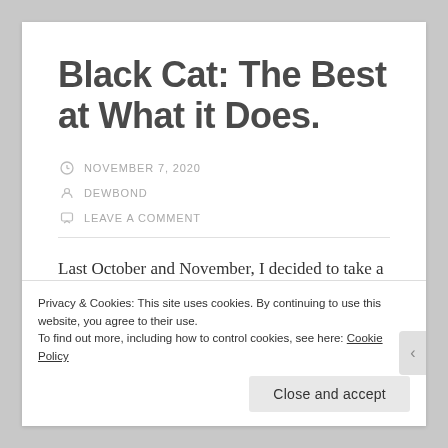Black Cat: The Best at What it Does.
NOVEMBER 7, 2020
DEWBOND
LEAVE A COMMENT
Last October and November, I decided to take a season long look at the manga series Black Cat. I
Privacy & Cookies: This site uses cookies. By continuing to use this website, you agree to their use.
To find out more, including how to control cookies, see here: Cookie Policy
Close and accept